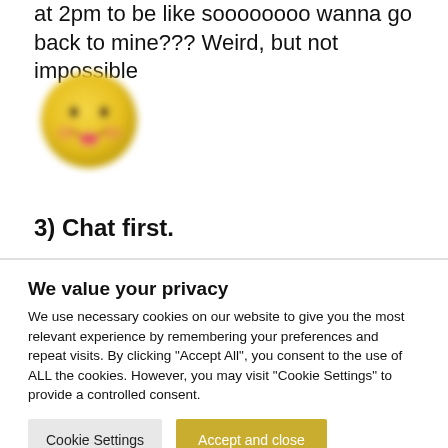at 2pm to be like soooooooo wanna go back to mine??? Weird, but not impossible
[Figure (illustration): A blurred/pixelated emoji face with rosy cheeks and a cheeky expression, yellow circle face]
3) Chat first.
We value your privacy
We use necessary cookies on our website to give you the most relevant experience by remembering your preferences and repeat visits. By clicking "Accept All", you consent to the use of ALL the cookies. However, you may visit "Cookie Settings" to provide a controlled consent.
Cookie Settings | Accept and close